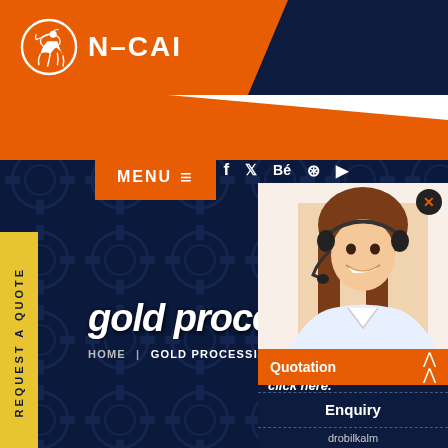N-CAI
MENU ≡
f  𝕏  Bé  ⊕  ▶
gold processing fa
HOME | GOLD PROCESSING FA
REQUEST A QUOTE
[Figure (photo): Woman with headset smiling, customer service representative]
Have any requests, click here.
Quotation
Enquiry
drobilkalm